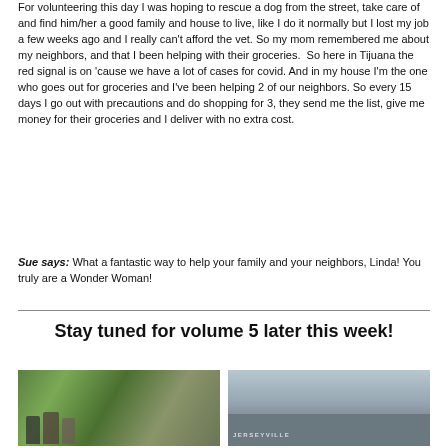For volunteering this day I was hoping to rescue a dog from the street, take care of and find him/her a good family and house to live, like I do it normally but I lost my job a few weeks ago and I really can't afford the vet. So my mom remembered me about my neighbors, and that I been helping with their groceries.  So here in Tijuana the red signal is on 'cause we have a lot of cases for covid. And in my house I'm the one who goes out for groceries and I've been helping 2 of our neighbors. So every 15 days I go out with precautions and do shopping for 3, they send me the list, give me money for their groceries and I deliver with no extra cost.
Sue says: What a fantastic way to help your family and your neighbors, Linda! You truly are a Wonder Woman!
Stay tuned for volume 5 later this week!
[Figure (photo): Outdoor photo of three people standing in a garden with green hedges and flowers in the background]
[Figure (photo): Photo of a building exterior with 'JERSEYVILLE' text visible on the side, cloudy sky above]